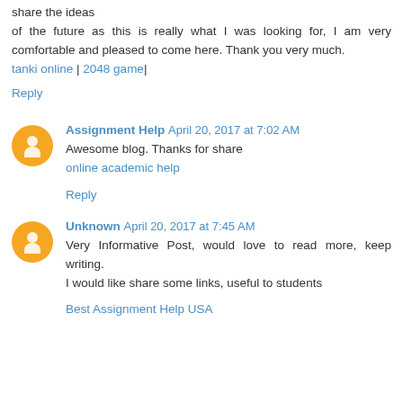share the ideas
of the future as this is really what I was looking for, I am very comfortable and pleased to come here. Thank you very much.
tanki online | 2048 game|
Reply
Assignment Help  April 20, 2017 at 7:02 AM
Awesome blog. Thanks for share
online academic help
Reply
Unknown  April 20, 2017 at 7:45 AM
Very Informative Post, would love to read more, keep writing.
I would like share some links, useful to students
Best Assignment Help USA